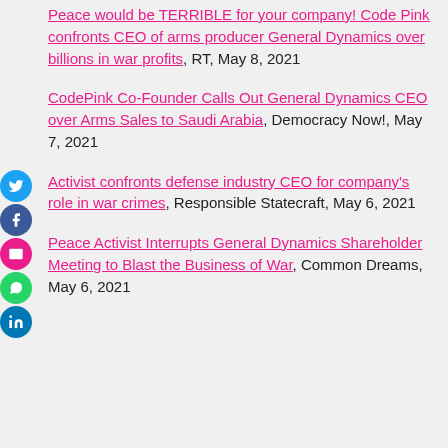Peace would be TERRIBLE for your company! Code Pink confronts CEO of arms producer General Dynamics over billions in war profits, RT, May 8, 2021
CodePink Co-Founder Calls Out General Dynamics CEO over Arms Sales to Saudi Arabia, Democracy Now!, May 7, 2021
Activist confronts defense industry CEO for company's role in war crimes, Responsible Statecraft, May 6, 2021
Peace Activist Interrupts General Dynamics Shareholder Meeting to Blast the Business of War, Common Dreams, May 6, 2021